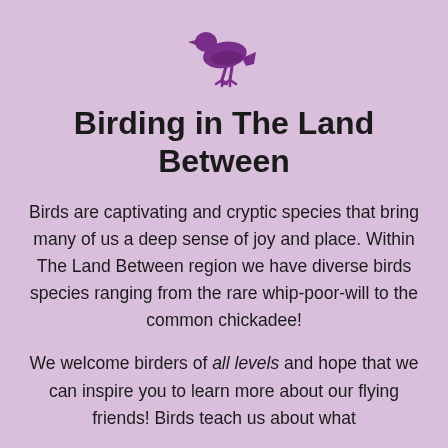[Figure (illustration): Purple silhouette of a bird (crow or raven) facing left, viewed from above/side, with wings folded and tail feathers visible]
Birding in The Land Between
Birds are captivating and cryptic species that bring many of us a deep sense of joy and place. Within The Land Between region we have diverse birds species ranging from the rare whip-poor-will to the common chickadee!
We welcome birders of all levels and hope that we can inspire you to learn more about our flying friends! Birds teach us about what